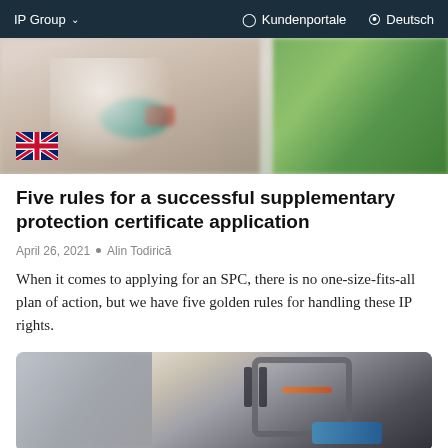IP Group ∨   Kundenportale   Deutsch
[Figure (photo): Blurred photo of a doctor in white coat with a patient, green plant in background; UK flag overlay in bottom-left corner]
Five rules for a successful supplementary protection certificate application
April 26, 2021 • Alin Todirică
When it comes to applying for an SPC, there is no one-size-fits-all plan of action, but we have five golden rules for handling these IP rights.
[Figure (photo): Blurred photo of a 3D printer or industrial machine with a person in background]